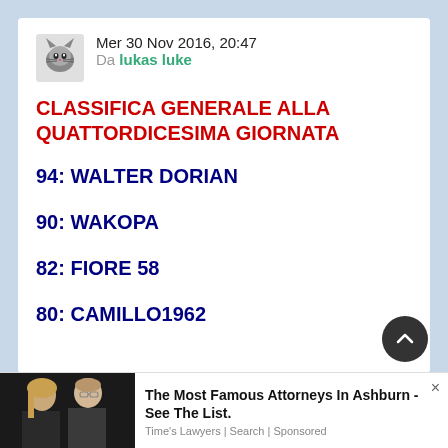Mer 30 Nov 2016, 20:47
Da lukas luke
CLASSIFICA GENERALE ALLA QUATTORDICESIMA GIORNATA
94: WALTER DORIAN
90: WAKOPA
82: FIORE 58
80: CAMILLO1962
[Figure (photo): Advertisement photo of two people (man and woman)]
The Most Famous Attorneys In Ashburn - See The List.
Time's Lawyers | Search | Sponsored